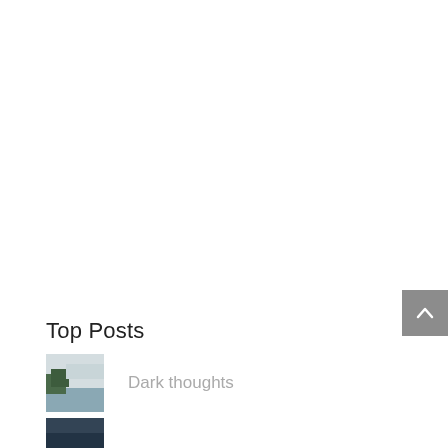[Figure (other): Gray scroll-to-top button with upward chevron arrow, positioned at right edge of page]
Top Posts
[Figure (photo): Small thumbnail photo showing a landscape with trees and water, vintage/muted tones]
Dark thoughts
[Figure (photo): Small thumbnail photo, partially visible at bottom of page, dark tones]